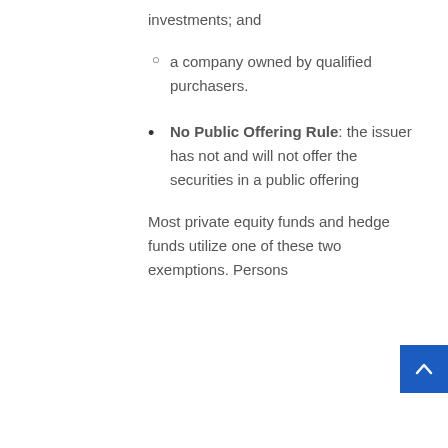investments; and
a company owned by qualified purchasers.
No Public Offering Rule: the issuer has not and will not offer the securities in a public offering
Most private equity funds and hedge funds utilize one of these two exemptions. Persons